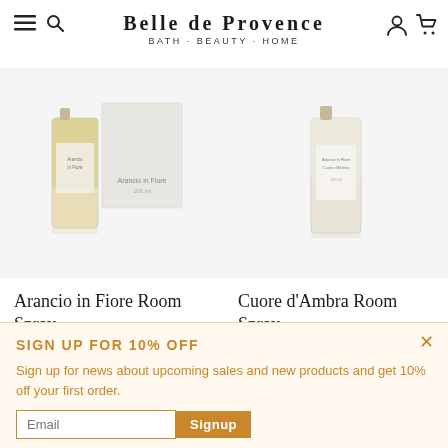Belle de Provence · Bath · Beauty · Home
[Figure (photo): Arancio in Fiore Room Spray product — a tall glass bottle with golden liquid and a white rectangular box packaging]
Arancio in Fiore Room Spray
$62.00
[Figure (photo): Cuore d'Ambra Room Spray product — a tall glass bottle with light liquid]
Cuore d'Ambra Room Spray
$62.00
SIGN UP FOR 10% OFF
Sign up for news about upcoming sales and new products and get 10% off your first order.